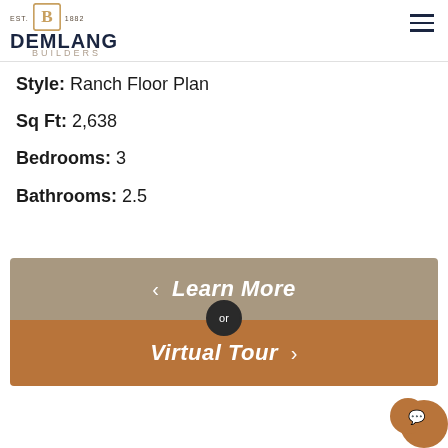DEMLANG BUILDERS — EST. 1882
Style: Ranch Floor Plan
Sq Ft: 2,638
Bedrooms: 3
Bathrooms: 2.5
[Figure (infographic): CTA banner with two sections: top gray-brown section with left arrow and 'Learn More' italic text, an 'or' circle divider, and bottom brown section with 'Virtual Tour' italic text and right arrow.]